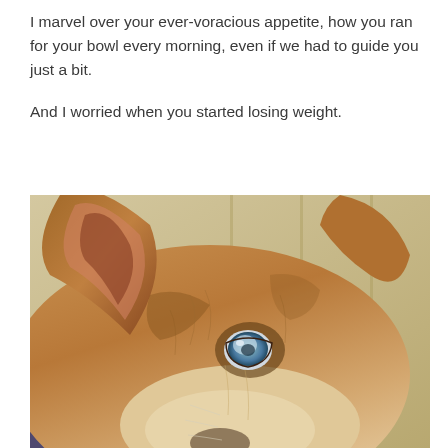I marvel over your ever-voracious appetite, how you ran for your bowl every morning, even if we had to guide you just a bit.
And I worried when you started losing weight.
[Figure (photo): Close-up photograph of an older dog's face, likely a shepherd mix, with brown/tan fur, prominent ears, and a cloudy blue eye suggesting age-related cataracts, photographed from above at an angle.]